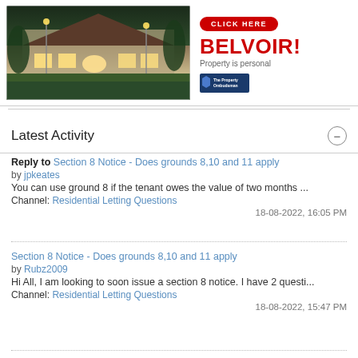[Figure (photo): House exterior at night with lights, advertisement image for Belvoir property services]
CLICK HERE
BELVOIR!
Property is personal
[Figure (logo): The Property Ombudsman logo]
Latest Activity
Reply to Section 8 Notice - Does grounds 8,10 and 11 apply
by jpkeates
You can use ground 8 if the tenant owes the value of two months ...
Channel: Residential Letting Questions
18-08-2022, 16:05 PM
Section 8 Notice - Does grounds 8,10 and 11 apply
by Rubz2009
Hi All, I am looking to soon issue a section 8 notice. I have 2 questi...
Channel: Residential Letting Questions
18-08-2022, 15:47 PM